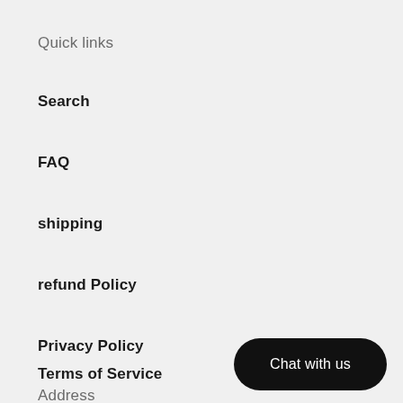Quick links
Search
FAQ
shipping
refund Policy
Privacy Policy
Terms of Service
Chat with us
Address